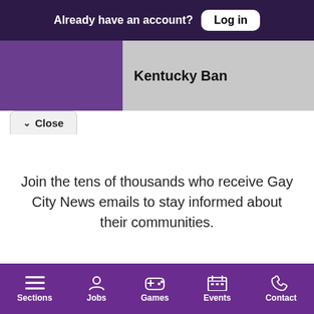Already have an account? Log in
Kentucky Ban
Close
Join the tens of thousands who receive Gay City News emails to stay informed about their communities.
Free Newsletters 3
GCN Daily Newsletter
GCN Events
Sections  Jobs  Games  Events  Contact